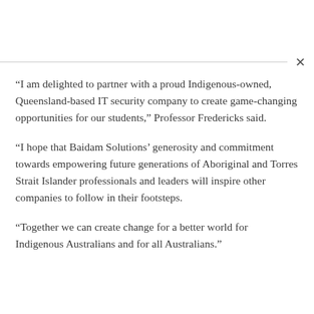“I am delighted to partner with a proud Indigenous-owned, Queensland-based IT security company to create game-changing opportunities for our students,” Professor Fredericks said.
“I hope that Baidam Solutions’ generosity and commitment towards empowering future generations of Aboriginal and Torres Strait Islander professionals and leaders will inspire other companies to follow in their footsteps.
“Together we can create change for a better world for Indigenous Australians and for all Australians.”